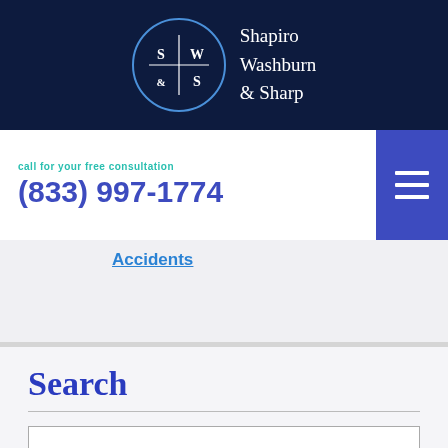[Figure (logo): Shapiro Washburn & Sharp law firm logo with circular monogram badge (S|W & S) on dark navy background]
call for your free consultation
(833) 997-1774
Accidents
Search
search